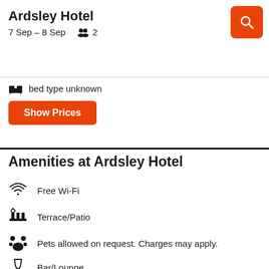Ardsley Hotel
7 Sep – 8 Sep   2
[Figure (other): Orange search button with magnifying glass icon]
bed type unknown
Show Prices
Amenities at Ardsley Hotel
Free Wi-Fi
Terrace/Patio
Pets allowed on request. Charges may apply.
Bar/Lounge